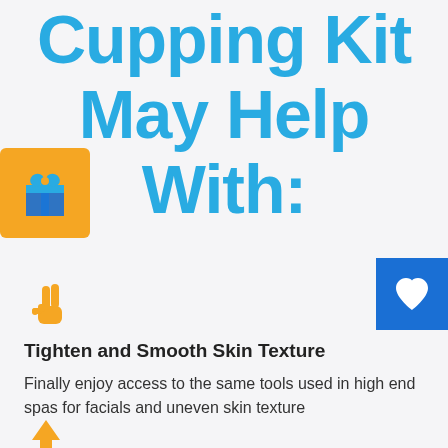Cupping Kit May Help With:
[Figure (illustration): Yellow/orange rounded square box with a teal gift box icon]
[Figure (illustration): Blue square box with a white heart icon, partially visible on right edge]
[Figure (illustration): Yellow hand/victory sign emoji icon]
Tighten and Smooth Skin Texture
Finally enjoy access to the same tools used in high end spas for facials and uneven skin texture
[Figure (illustration): Yellow upward arrow emoji icon at bottom left]